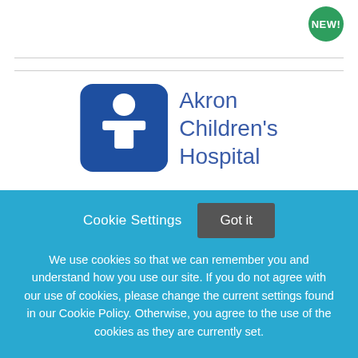[Figure (logo): NEW! badge — green circular badge with white bold text]
[Figure (logo): Akron Children's Hospital logo — blue rounded square icon with stylized child figure, next to blue text reading Akron Children's Hospital]
School Medical Assistant-Essex
Akron Children's Hospital
Cookie Settings  Got it
We use cookies so that we can remember you and understand how you use our site. If you do not agree with our use of cookies, please change the current settings found in our Cookie Policy. Otherwise, you agree to the use of the cookies as they are currently set.